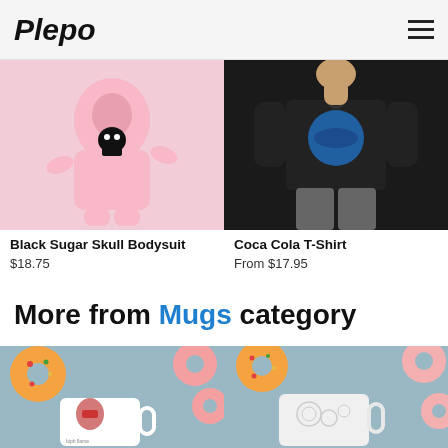Plepo
[Figure (photo): Baby in pink bodysuit with black sugar skull design on chest]
[Figure (photo): Child in black t-shirt with Coca Cola logo]
Black Sugar Skull Bodysuit
$18.75
Coca Cola T-Shirt
From $17.95
More from Mugs category
[Figure (photo): White mug with llama design surrounded by donuts on blue background]
[Figure (photo): White mug with intricate design surrounded by donuts on blue background]